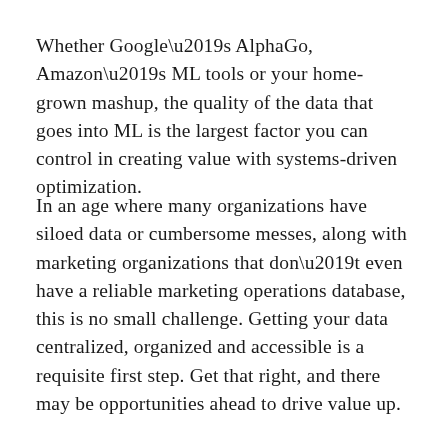Whether Google’s AlphaGo, Amazon’s ML tools or your home-grown mashup, the quality of the data that goes into ML is the largest factor you can control in creating value with systems-driven optimization.
In an age where many organizations have siloed data or cumbersome messes, along with marketing organizations that don’t even have a reliable marketing operations database, this is no small challenge. Getting your data centralized, organized and accessible is a requisite first step. Get that right, and there may be opportunities ahead to drive value up.